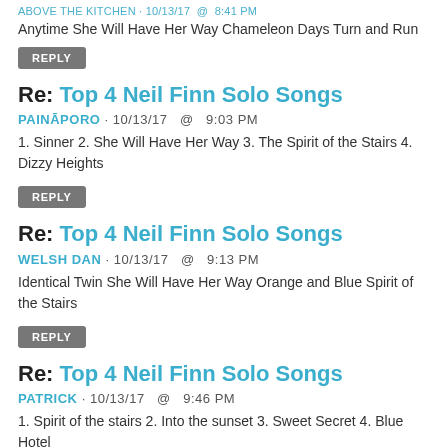ABOVE THE KITCHEN · 10/13/17 @ 8:41 PM
Anytime She Will Have Her Way Chameleon Days Turn and Run
REPLY
Re: Top 4 Neil Finn Solo Songs
PAINĀPORO · 10/13/17 @ 9:03 PM
1. Sinner 2. She Will Have Her Way 3. The Spirit of the Stairs 4. Dizzy Heights
REPLY
Re: Top 4 Neil Finn Solo Songs
WELSH DAN · 10/13/17 @ 9:13 PM
Identical Twin She Will Have Her Way Orange and Blue Spirit of the Stairs
REPLY
Re: Top 4 Neil Finn Solo Songs
PATRICK · 10/13/17 @ 9:46 PM
1. Spirit of the stairs 2. Into the sunset 3. Sweet Secret 4. Blue Hotel